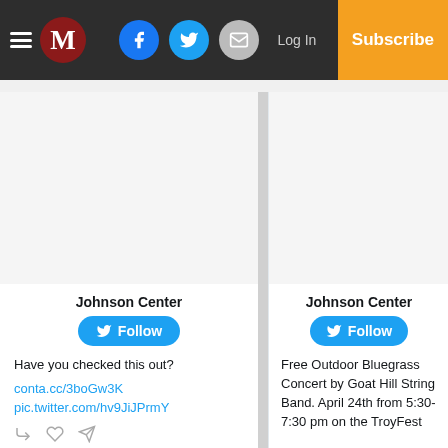M | Facebook | Twitter | Mail | Log In | Subscribe
Johnson Center
Follow
Have you checked this out?
conta.cc/3boGw3K
pic.twitter.com/hv9JiJPrmY
Johnson Center
Follow
Free Outdoor Bluegrass Concert by Goat Hill String Band. April 24th from 5:30-7:30 pm on the TroyFest